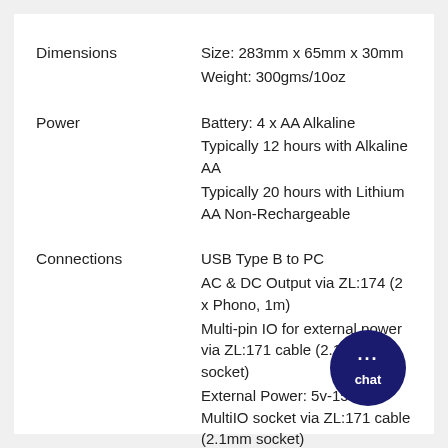| Attribute | Value |
| --- | --- |
| Dimensions | Size: 283mm x 65mm x 30mm
Weight: 300gms/10oz |
| Power | Battery: 4 x AA Alkaline
Typically 12 hours with Alkaline AA
Typically 20 hours with Lithium AA Non-Rechargeable |
| Connections | USB Type B to PC
AC & DC Output via ZL:174 (2 x Phono, 1m)
Multi-pin IO for external power via ZL:171 cable (2.1mm socket)
External Power: 5v-15v via MultiIO socket via ZL:171 cable (2.1mm socket) |